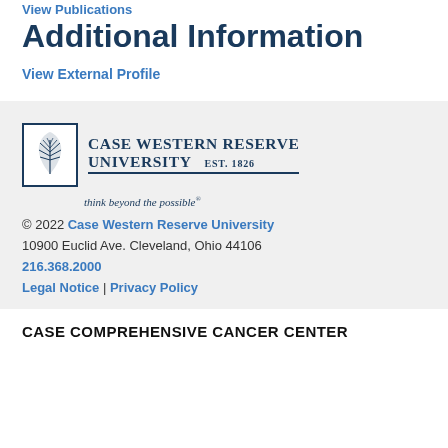View Publications
Additional Information
View External Profile
[Figure (logo): Case Western Reserve University logo with palm leaf icon, university name, EST. 1826, and tagline 'think beyond the possible']
© 2022 Case Western Reserve University
10900 Euclid Ave. Cleveland, Ohio 44106
216.368.2000
Legal Notice | Privacy Policy
CASE COMPREHENSIVE CANCER CENTER